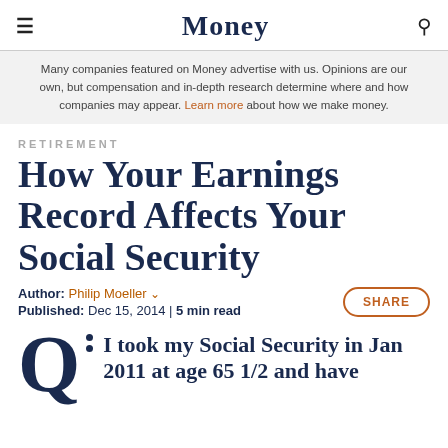Money
Many companies featured on Money advertise with us. Opinions are our own, but compensation and in-depth research determine where and how companies may appear. Learn more about how we make money.
RETIREMENT
How Your Earnings Record Affects Your Social Security
Author: Philip Moeller ∨
Published: Dec 15, 2014 | 5 min read
Q: I took my Social Security in Jan 2011 at age 65 1/2 and have